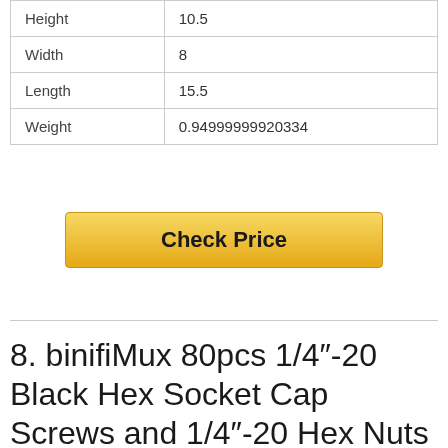| Height | 10.5 |
| Width | 8 |
| Length | 15.5 |
| Weight | 0.94999999920334 |
Check Price
8. binifiMux 80pcs 1/4"-20 Black Hex Socket Cap Screws and 1/4"-20 Hex Nuts Assortment Kit, 3/8" 5/8" 1" 1-1/4" 2"